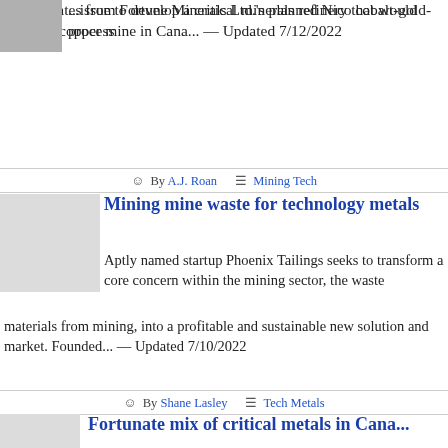...issue to develop a critical minerals refinery that would process concentrates from Fortune Minerals Ltd.'s planned Nico cobalt-gold-bismuth-copper mine in Cana... — Updated 7/12/2022
By A.J. Roan   Mining Tech
Mining mine waste for technology metals
Aptly named startup Phoenix Tailings seeks to transform a core concern within the mining sector, the waste materials from mining, into a profitable and sustainable new solution and market. Founded... — Updated 7/10/2022
By Shane Lasley   Tech Metals
Fortunate mix of critical metals in Cana...